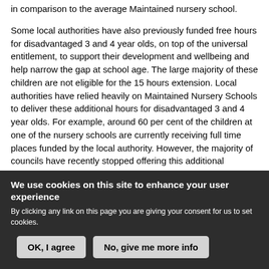in comparison to the average Maintained nursery school.

Some local authorities have also previously funded free hours for disadvantaged 3 and 4 year olds, on top of the universal entitlement, to support their development and wellbeing and help narrow the gap at school age. The large majority of these children are not eligible for the 15 hours extension. Local authorities have relied heavily on Maintained Nursery Schools to deliver these additional hours for disadvantaged 3 and 4 year olds. For example, around 60 per cent of the children at one of the nursery schools are currently receiving full time places funded by the local authority. However, the majority of councils have recently stopped offering this additional provision, or are gradually phasing it out, as the restrictions that the new Early Years National Funding Formula (EYNFF)
We use cookies on this site to enhance your user experience
By clicking any link on this page you are giving your consent for us to set cookies.
OK, I agree
No, give me more info